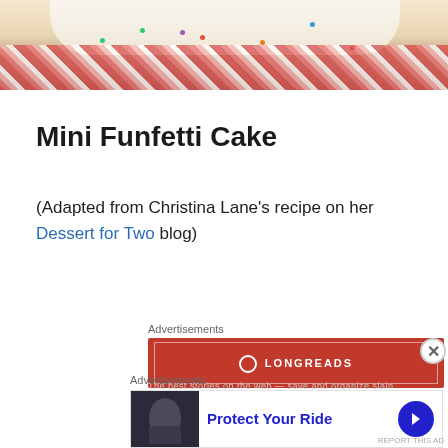[Figure (photo): Close-up photo of a white frosted funfetti cake with colorful sprinkles, sitting on a red floral patterned surface]
Mini Funfetti Cake
(Adapted from Christina Lane's recipe on her Dessert for Two blog)
Advertisements
[Figure (other): Longreads advertisement banner in red with logo and border]
Advertisements
[Figure (other): Advertisement: Protect Your Ride with thumbnail image and blue arrow button]